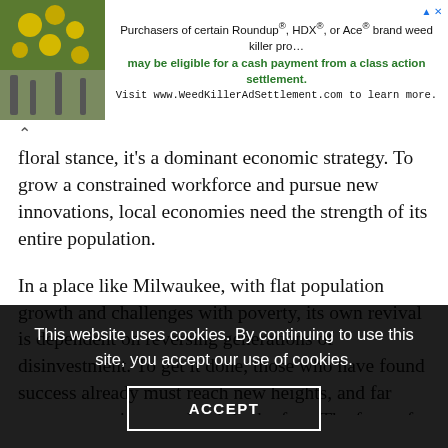[Figure (screenshot): Advertisement banner: plant/flowers image on left, text about Roundup class action settlement on right with URL www.WeedKillerAdSettlement.com]
floral stance, it's a dominant economic strategy. To grow a constrained workforce and pursue new innovations, local economies need the strength of its entire population.
In a place like Milwaukee, with flat population growth and challenges with poverty, its own revival is dependent on reversing generations of disinvestment. To get it done, those who have found success already must reach new heights, and far more new voices need to join the fray. The future for Milwaukee, the slow-growth state of Wisconsin and much of a
This website uses cookies. By continuing to use this site, you accept our use of cookies.
ACCEPT